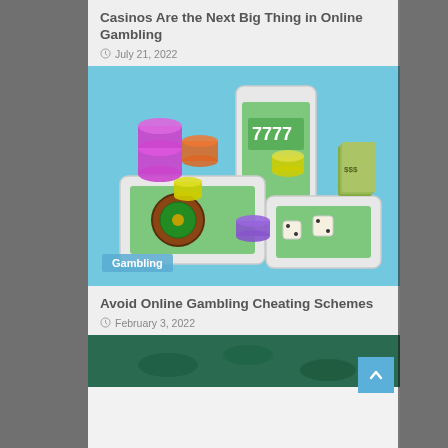Casinos Are the Next Big Thing in Online Gambling
July 21, 2022
[Figure (photo): 3D illustration of smartphones with casino chips, dice, slot machine display showing 7777, and a roulette wheel on a blue background, with a 'Gambling' label overlay]
Avoid Online Gambling Cheating Schemes
February 3, 2022
[Figure (photo): Partial view of a gambling/casino related image at the bottom of the page]